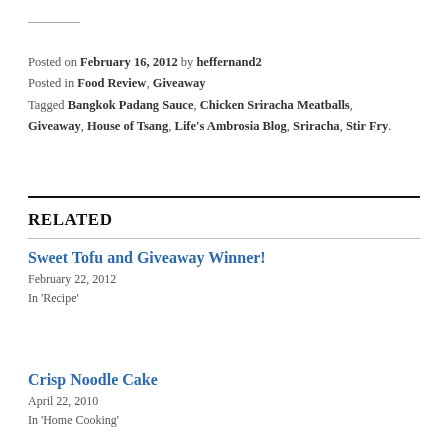Posted on February 16, 2012 by heffernand2
Posted in Food Review, Giveaway
Tagged Bangkok Padang Sauce, Chicken Sriracha Meatballs, Giveaway, House of Tsang, Life's Ambrosia Blog, Sriracha, Stir Fry.
RELATED
Sweet Tofu and Giveaway Winner!
February 22, 2012
In 'Recipe'
Crisp Noodle Cake
April 22, 2010
In 'Home Cooking'